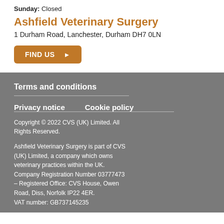Sunday: Closed
Ashfield Veterinary Surgery
1 Durham Road, Lanchester, Durham DH7 0LN
FIND US
Terms and conditions
Privacy notice
Cookie policy
Copyright © 2022 CVS (UK) Limited. All Rights Reserved.
Ashfield Veterinary Surgery is part of CVS (UK) Limited, a company which owns veterinary practices within the UK. Company Registration Number 03777473 – Registered Office: CVS House, Owen Road, Diss, Norfolk IP22 4ER. VAT number: GB737145235